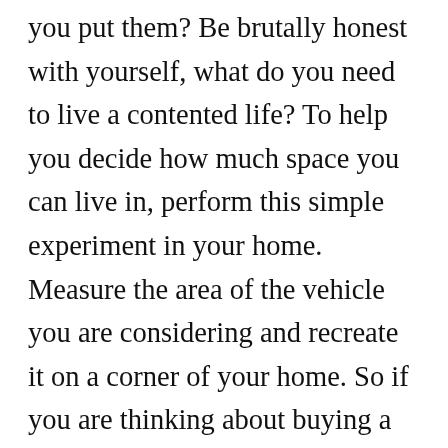you put them? Be brutally honest with yourself, what do you need to live a contented life? To help you decide how much space you can live in, perform this simple experiment in your home. Measure the area of the vehicle you are considering and recreate it on a corner of your home. So if you are thinking about buying a van and you measured it and found out it is 5 foot by 9 foot, you would set up that much space in a corner of your house. Make it as realistic as you can. Use curtains or dividers of some kind. Where will you sleep? Can you have a dresser? Where will you cook? Can you have a porta-potti? Then, move in! Live for a month in the space. Sleep there, cook there, go to the bathroom there! If, after the month, you like living that way, start